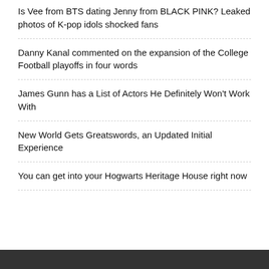Is Vee from BTS dating Jenny from BLACK PINK? Leaked photos of K-pop idols shocked fans
Danny Kanal commented on the expansion of the College Football playoffs in four words
James Gunn has a List of Actors He Definitely Won't Work With
New World Gets Greatswords, an Updated Initial Experience
You can get into your Hogwarts Heritage House right now